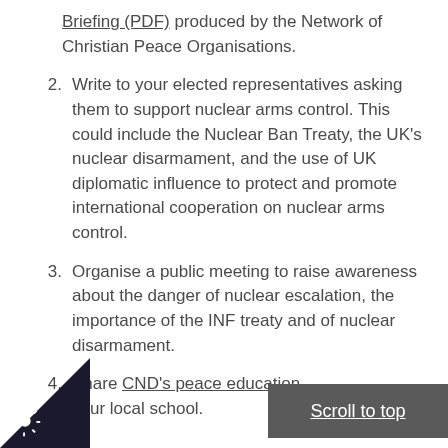Briefing (PDF) produced by the Network of Christian Peace Organisations.
2. Write to your elected representatives asking them to support nuclear arms control. This could include the Nuclear Ban Treaty, the UK's nuclear disarmament, and the use of UK diplomatic influence to protect and promote international cooperation on nuclear arms control.
3. Organise a public meeting to raise awareness about the danger of nuclear escalation, the importance of the INF treaty and of nuclear disarmament.
4. Share CND's peace education [your local school.]